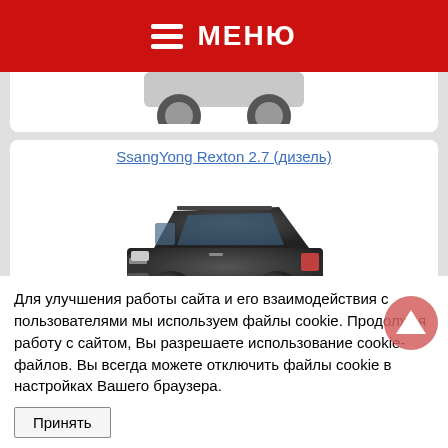МЕНЮ
[Figure (photo): Partial view of a car (top cut off), white background card]
SsangYong Rexton 2.7 (дизель)
[Figure (photo): Dark grey SsangYong Rexton SUV, front three-quarter view]
Subaru Outback 2.0 (дизель)
Для улучшения работы сайта и его взаимодействия с пользователями мы используем файлы cookie. Продолжая работу с сайтом, Вы разрешаете использование cookie-файлов. Вы всегда можете отключить файлы cookie в настройках Вашего браузера.
Принять
Toyota Highlander 2.7 (бензин)